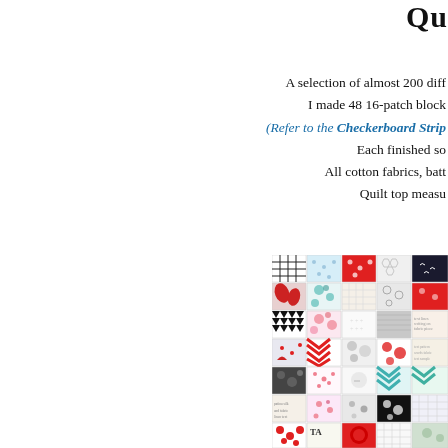Qu
A selection of almost 200 diff
I made 48 16-patch block
(Refer to the Checkerboard Strip
Each finished so
All cotton fabrics, batt
Quilt top measu
[Figure (photo): A patchwork quilt made of colorful fabric squares in various patterns including red, black, white, teal, and pink fabrics with different prints such as chevron, floral, dots, and geometric designs.]